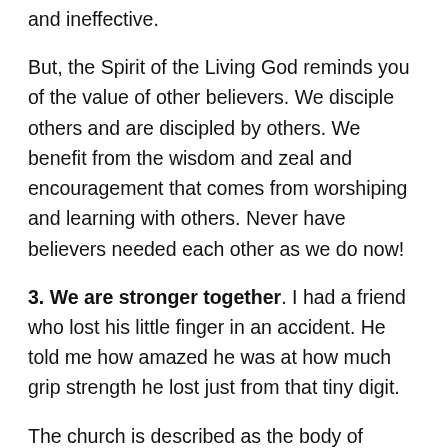need anyone else because he wants you to be vulnerable and ineffective.
But, the Spirit of the Living God reminds you of the value of other believers. We disciple others and are discipled by others. We benefit from the wisdom and zeal and encouragement that comes from worshiping and learning with others. Never have believers needed each other as we do now!
3. We are stronger together. I had a friend who lost his little finger in an accident. He told me how amazed he was at how much grip strength he lost just from that tiny digit.
The church is described as the body of Christ. We all have different gifts and backgrounds and personalities and perspectives. But, we function best when we work together. We are stronger in missions, evangelism, discipleship and